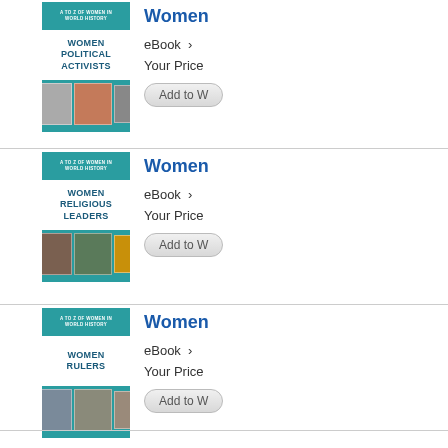[Figure (illustration): Book cover for Women Political Activists from A to Z of Women in World History series, teal cover with portraits]
Women
eBook  ›
Your Price
Add to W
[Figure (illustration): Book cover for Women Religious Leaders from A to Z of Women in World History series, teal cover with portraits]
Women
eBook  ›
Your Price
Add to W
[Figure (illustration): Book cover for Women Rulers from A to Z of Women in World History series, teal cover with portraits]
Women
eBook  ›
Your Price
Add to W